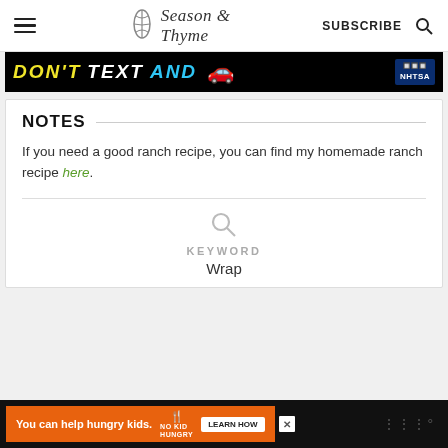Season & Thyme | SUBSCRIBE
[Figure (other): DON'T TEXT AND [car] NHTSA advertisement banner]
NOTES
If you need a good ranch recipe, you can find my homemade ranch recipe here.
KEYWORD
Wrap
[Figure (other): You can help hungry kids. No Kid Hungry. LEARN HOW advertisement banner at bottom]